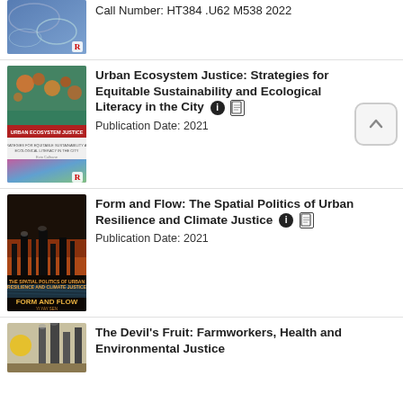[Figure (illustration): Book cover for a title (partially visible at top), blue tones with abstract design and Routledge logo]
Call Number: HT384 .U62 M538 2022
[Figure (illustration): Book cover for Urban Ecosystem Justice, showing colorful landscape imagery and subtitle text]
Urban Ecosystem Justice: Strategies for Equitable Sustainability and Ecological Literacy in the City
Publication Date: 2021
[Figure (illustration): Book cover for Form and Flow: The Spatial Politics of Urban Resilience and Climate Justice, showing industrial cityscape]
Form and Flow: The Spatial Politics of Urban Resilience and Climate Justice
Publication Date: 2021
[Figure (illustration): Book cover for The Devil's Fruit: Farmworkers, Health and Environmental Justice, partially visible at bottom]
The Devil's Fruit: Farmworkers, Health and Environmental Justice